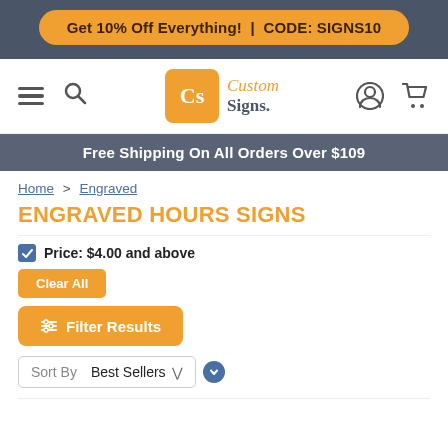Get 10% Off Everything! | CODE: SIGNS10
[Figure (logo): Custom Signs logo with orange Cs box and italic/bold text]
Free Shipping On All Orders Over $109
Home > Engraved
ENGRAVED HOURS SIGNS
Price: $4.00 and above
Clear All
Filter Results
Sort By  Best Sellers